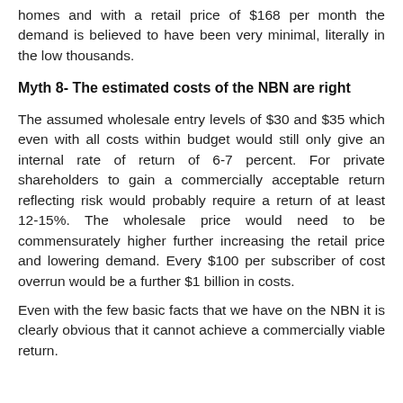homes and with a retail price of $168 per month the demand is believed to have been very minimal, literally in the low thousands.
Myth 8- The estimated costs of the NBN are right
The assumed wholesale entry levels of $30 and $35 which even with all costs within budget would still only give an internal rate of return of 6-7 percent. For private shareholders to gain a commercially acceptable return reflecting risk would probably require a return of at least 12-15%. The wholesale price would need to be commensurately higher further increasing the retail price and lowering demand. Every $100 per subscriber of cost overrun would be a further $1 billion in costs.
Even with the few basic facts that we have on the NBN it is clearly obvious that it cannot achieve a commercially viable return.